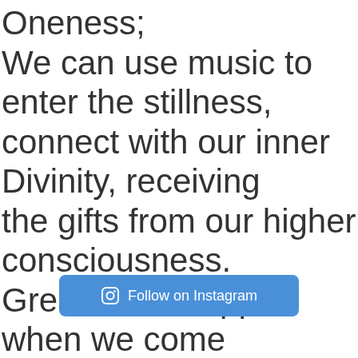Oneness; We can use music to enter the stillness, connect with our inner Divinity, receiving the gifts from our higher consciousness. Great shifts happen when we come together with positive intentions to heal ourselves and our world, ONE BEAT AT A TIME!”
[Figure (other): Follow on Instagram button with Instagram icon]